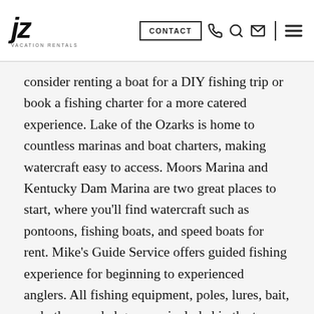JZ VACATION RENTALS — CONTACT
consider renting a boat for a DIY fishing trip or book a fishing charter for a more catered experience. Lake of the Ozarks is home to countless marinas and boat charters, making watercraft easy to access. Moors Marina and Kentucky Dam Marina are two great places to start, where you'll find watercraft such as pontoons, fishing boats, and speed boats for rent. Mike's Guide Service offers guided fishing experience for beginning to experienced anglers. All fishing equipment, poles, lures, bait, and other needed gear are included in the tour. Choose among 4-, 6-, or 8-hour excursions. A guided fishing tour is a great option for those new lake of the Ozarks fishing who want the guarantee of a fresh catch!